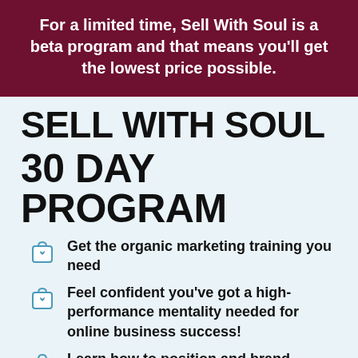For a limited time, Sell With Soul is a beta program and that means you'll get the lowest price possible.
SELL WITH SOUL
30 DAY PROGRAM
Get the organic marketing training you need
Feel confident you've got a high-performance mentality needed for online business success!
Learn how to position and brand